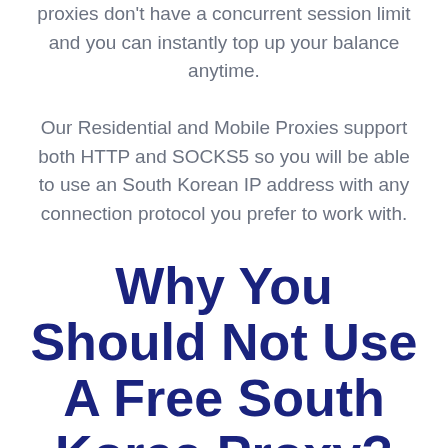proxies don't have a concurrent session limit and you can instantly top up your balance anytime.

Our Residential and Mobile Proxies support both HTTP and SOCKS5 so you will be able to use an South Korean IP address with any connection protocol you prefer to work with.
Why You Should Not Use A Free South Korea Proxy?